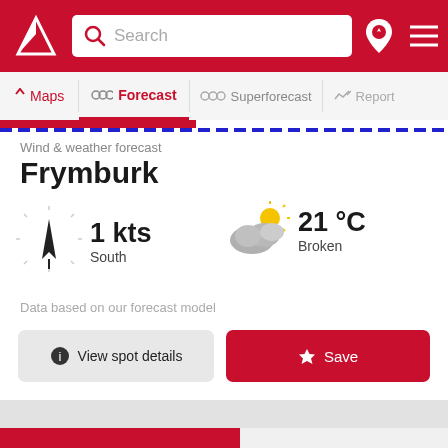[Figure (screenshot): Top navigation bar with red background, white logo (compass arrow), search box, pin icon and hamburger menu icon]
Search
Maps  Forecast  Superforecast  Report
Wind & weather forecast
Frymburk
1 kts South
21 °C Broken
Data based on our forecast model
View spot details
Save